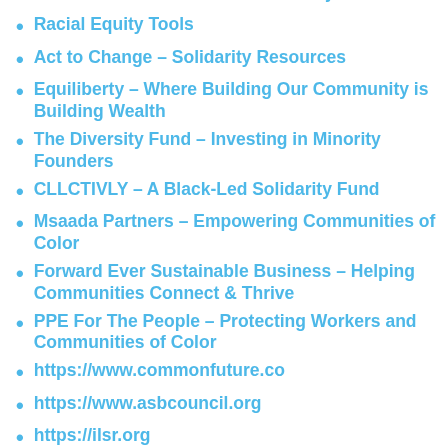Guide for the Tech & VC Community
Racial Equity Tools
Act to Change – Solidarity Resources
Equiliberty – Where Building Our Community is Building Wealth
The Diversity Fund – Investing in Minority Founders
CLLCTIVLY – A Black-Led Solidarity Fund
Msaada Partners – Empowering Communities of Color
Forward Ever Sustainable Business – Helping Communities Connect & Thrive
PPE For The People – Protecting Workers and Communities of Color
https://www.commonfuture.co
https://www.asbcouncil.org
https://ilsr.org